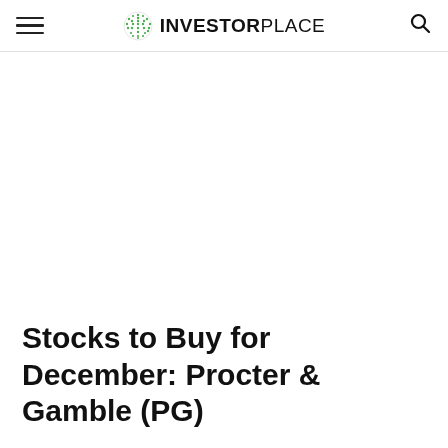INVESTORPLACE
Stocks to Buy for December: Procter & Gamble (PG)